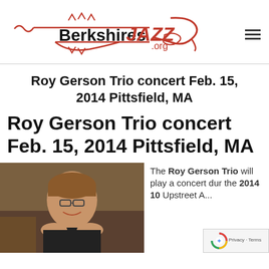Berkshires JAZZ .org
Roy Gerson Trio concert Feb. 15, 2014 Pittsfield, MA
Roy Gerson Trio concert Feb. 15, 2014 Pittsfield, MA
[Figure (photo): Photo of Roy Gerson, a smiling man with glasses wearing a dark shirt, photographed indoors]
The Roy Gerson Trio will play a concert dur the 2014 10 Upstreet A...